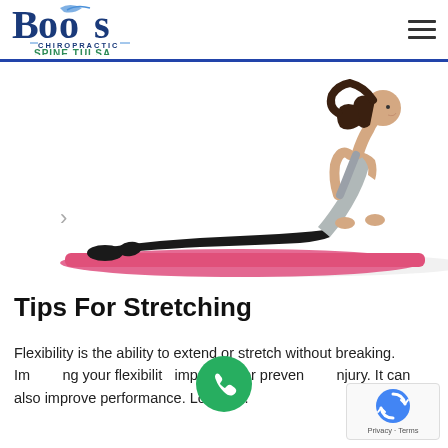Boos Chiropractic Spine Tulsa
[Figure (photo): Woman performing upward-facing dog yoga/stretch pose on a pink mat, white background]
Tips For Stretching
Flexibility is the ability to extend or stretch without breaking. Improving your flexibility is important for preventing injury. It can also improve performance. Loss of...